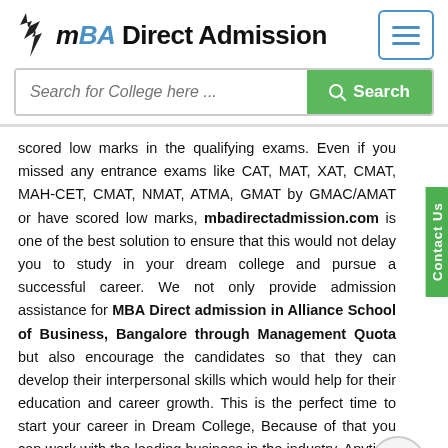MBA Direct Admission
Search for College here ...
scored low marks in the qualifying exams. Even if you missed any entrance exams like CAT, MAT, XAT, CMAT, MAH-CET, CMAT, NMAT, ATMA, GMAT by GMAC/AMAT or have scored low marks, mbadirectadmission.com is one of the best solution to ensure that this would not delay you to study in your dream college and pursue a successful career. We not only provide admission assistance for MBA Direct admission in Alliance School of Business, Bangalore through Management Quota but also encourage the candidates so that they can develop their interpersonal skills which would help for their education and career growth. This is the perfect time to start your career in Dream College, Because of that you can work with the leading business in the industry. Anytime you can get in touch with our mbadirectadmission.com educational portal. We